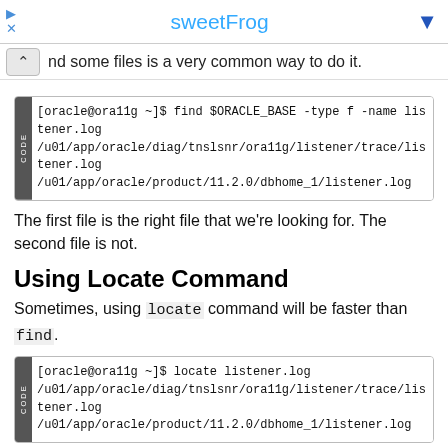sweetFrog
nd some files is a very common way to do it.
[Figure (screenshot): Code block showing: [oracle@ora11g ~]$ find $ORACLE_BASE -type f -name listener.log
/u01/app/oracle/diag/tnslsnr/ora11g/listener/trace/listener.log
/u01/app/oracle/product/11.2.0/dbhome_1/listener.log]
The first file is the right file that we're looking for. The second file is not.
Using Locate Command
Sometimes, using locate command will be faster than find.
[Figure (screenshot): Code block showing: [oracle@ora11g ~]$ locate listener.log
/u01/app/oracle/diag/tnslsnr/ora11g/listener/trace/listener.log
/u01/app/oracle/product/11.2.0/dbhome_1/listener.log]